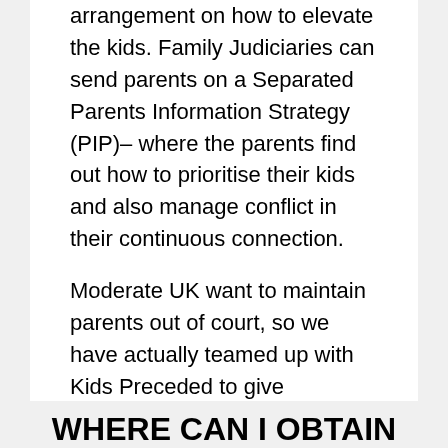arrangement on how to elevate the kids. Family Judiciaries can send parents on a Separated Parents Information Strategy (PIP)– where the parents find out how to prioritise their kids and also manage conflict in their continuous connection.
Moderate UK want to maintain parents out of court, so we have actually teamed up with Kids Preceded to give coaching to parents experiencing a separation. It can function really well when there is high problem, when your sights on parenting are much apart, or when you just desire an experienced specialist to assist you with the splitting up.
WHERE CAN I OBTAIN